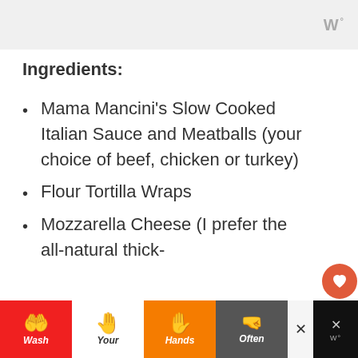[Figure (logo): Header bar with stylized 'W' logo in gray on a light gray background]
Ingredients:
Mama Mancini's Slow Cooked Italian Sauce and Meatballs (your choice of beef, chicken or turkey)
Flour Tortilla Wraps
Mozzarella Cheese (I prefer the all-natural thick-
[Figure (infographic): Bottom advertisement banner: Wash Your Hands Often public health ad with hand emoji icons, dark background with colorful panels, close buttons]